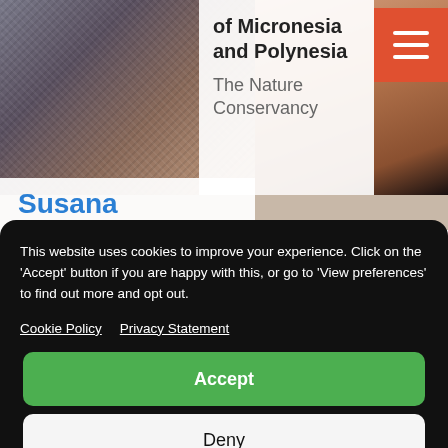[Figure (screenshot): Top portion of a website showing a profile photo of a person with textured clothing on the left, and a close-up face photo on the right. An orange hamburger menu icon is in the top-right corner.]
of Micronesia and Polynesia
The Nature Conservancy
Susana
This website uses cookies to improve your experience. Click on the 'Accept' button if you are happy with this, or go to 'View preferences' to find out more and opt out.
Cookie Policy   Privacy Statement
Accept
Deny
View preferences